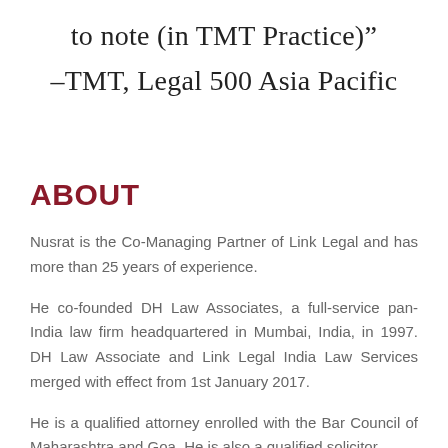to note (in TMT Practice)”
–TMT, Legal 500 Asia Pacific
ABOUT
Nusrat is the Co-Managing Partner of Link Legal and has more than 25 years of experience.
He co-founded DH Law Associates, a full-service pan-India law firm headquartered in Mumbai, India, in 1997. DH Law Associate and Link Legal India Law Services merged with effect from 1st January 2017.
He is a qualified attorney enrolled with the Bar Council of Maharashtra and Goa. He is also a qualified solicitor...